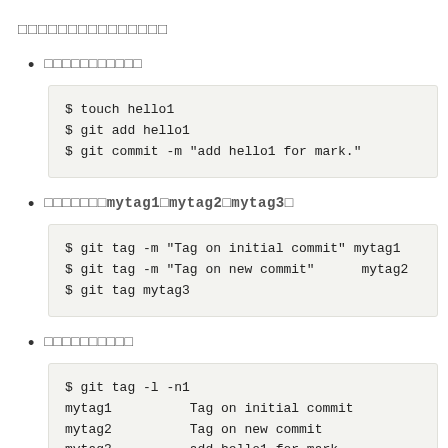□□□□□□□□□□□□□□□
□□□□□□□□□□□
$ touch hello1
$ git add hello1
$ git commit -m "add hello1 for mark."
□□□□□□□mytag1□mytag2□mytag3□
$ git tag -m "Tag on initial commit" mytag1
$ git tag -m "Tag on new commit"      mytag2
$ git tag mytag3
□□□□□□□□□□
$ git tag -l -n1
mytag1          Tag on initial commit
mytag2          Tag on new commit
mytag3          add hello1 for mark.